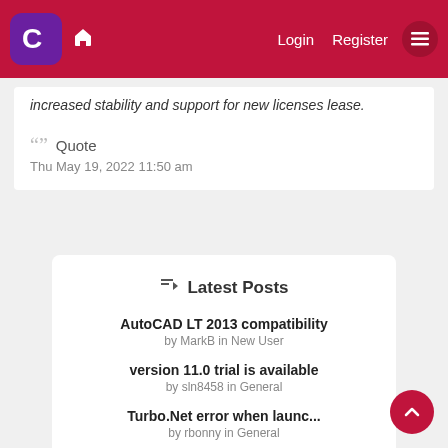Login  Register
increased stability and support for new licenses lease.
Quote
Thu May 19, 2022 11:50 am
Latest Posts
AutoCAD LT 2013 compatibility
by MarkB in New User
version 11.0 trial is available
by sln8458 in General
Turbo.Net error when launc...
by rbonny in General
3D Legrand Cable Tray
by sln8458 in Free CAD .DWG